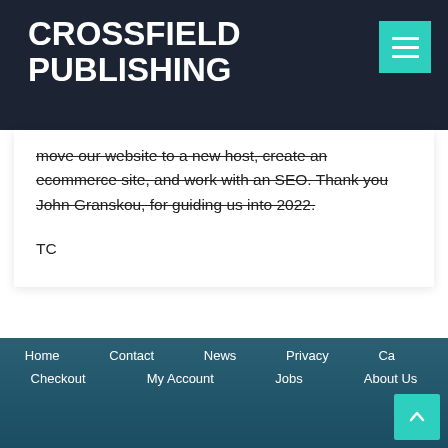CROSSFIELD PUBLISHING
move our website to a new host, create an ecommerce site, and work with an SEO. Thank you John Granskou, for guiding us into 2022.
TC
Home  Contact  News  Privacy  Ca... Checkout  My Account  Jobs  About Us